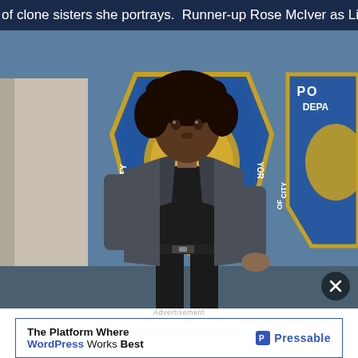of clone sisters she portrays.  Runner-up Rose McIver as Liv M
[Figure (photo): A woman with curly hair wearing a dark blazer and black top stands in front of NYPD Police Department badge/shield display on a blue wall. She appears to be in a detective or police character role.]
Advertisement
The Platform Where WordPress Works Best — Pressable